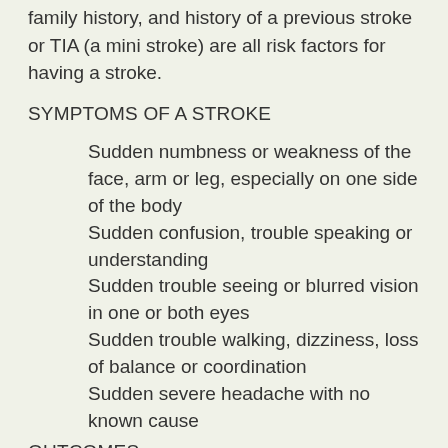family history, and history of a previous stroke or TIA (a mini stroke) are all risk factors for having a stroke.
SYMPTOMS OF A STROKE
Sudden numbness or weakness of the face, arm or leg, especially on one side of the body
Sudden confusion, trouble speaking or understanding
Sudden trouble seeing or blurred vision in one or both eyes
Sudden trouble walking, dizziness, loss of balance or coordination
Sudden severe headache with no known cause
OUTCOMES
Of the roughly three out of four people who survive a stroke, many will have life-long